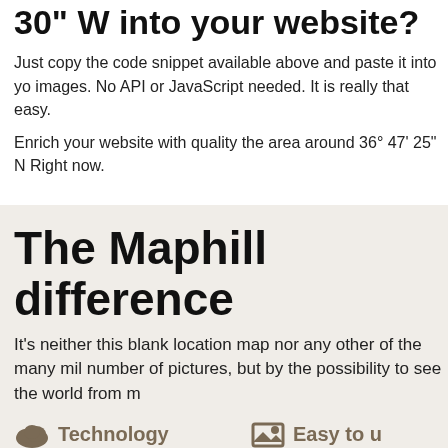30" W into your website?
Just copy the code snippet available above and paste it into yo images. No API or JavaScript needed. It is really that easy.
Enrich your website with quality the area around 36° 47' 25" N Right now.
The Maphill difference
It's neither this blank location map nor any other of the many mil number of pictures, but by the possibility to see the world from m
Technology
We unlock the value hidden in the geographic data. Thanks to automating the complex process of turning data into map graphics, we are able to create maps in higher quality, faster and cheaper than was possible before.
Easy to u
This map is availa format. You can c map very easily. Ju
Different
The value of Map look at the same
Forever free